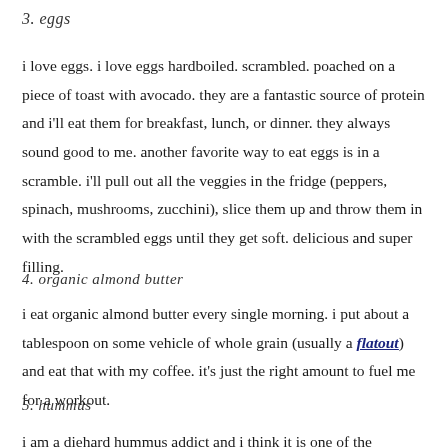3. eggs
i love eggs. i love eggs hardboiled. scrambled. poached on a piece of toast with avocado. they are a fantastic source of protein and i'll eat them for breakfast, lunch, or dinner. they always sound good to me. another favorite way to eat eggs is in a scramble. i'll pull out all the veggies in the fridge (peppers, spinach, mushrooms, zucchini), slice them up and throw them in with the scrambled eggs until they get soft. delicious and super filling.
4. organic almond butter
i eat organic almond butter every single morning. i put about a tablespoon on some vehicle of whole grain (usually a flatout) and eat that with my coffee. it's just the right amount to fuel me for a workout.
5. hummus
i am a diehard hummus addict and i think it is one of the greatest...